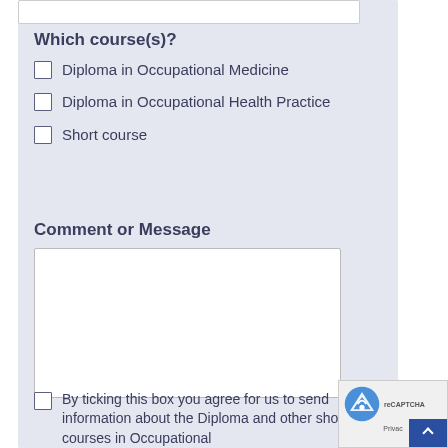Which course(s)?
Diploma in Occupational Medicine
Diploma in Occupational Health Practice
Short course
Comment or Message
By ticking this box you agree for us to send information about the Diploma and other short courses in Occupational